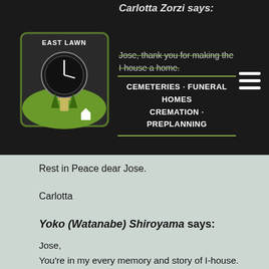East Lawn Cemeteries • Funeral Homes • Cremation • Preplanning
Carlotta Zorzi says:
Jose, thank you for making the I-house a home. You were so kind and warm and you will be missed by many.
Rest in Peace dear Jose.

Carlotta
Yoko (Watanabe) Shiroyama says:
Jose,
You're in my every memory and story of I-house. Your warm and big hug gave me tremendous encouragement when I was stuck, your yummy breakfast gave me big smile and a bit more weight, your hands to fix issues at house gave me